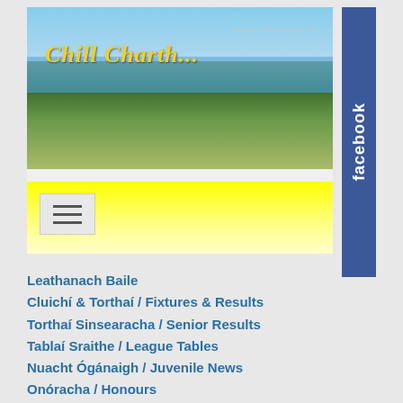[Figure (screenshot): Website screenshot of a GAA club page (Cumann Fáthchluais Chill Chartha) showing a landscape banner photo with yellow navigation area and a Facebook sidebar in blue]
Leathanach Baile
Cluichí & Torthaí / Fixtures & Results
Torthaí Sinsearacha / Senior Results
Tablaí Sraithe / League Tables
Nuacht Ógánaigh / Juvenile News
Onóracha / Honours
Páirc Mhícheáil Óig Mhic Phaidín
Bailiú Airgid / Fundraising
Tarraingt Deich Seachtaine / Ten Week Draw
Club Bingo
Online Bingo
Stair / History
Cláracha na gCluichí / Match Programmes
Club and County Publications